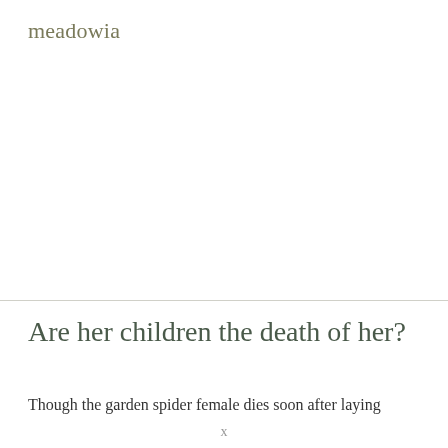meadowia
Are her children the death of her?
Though the garden spider female dies soon after laying